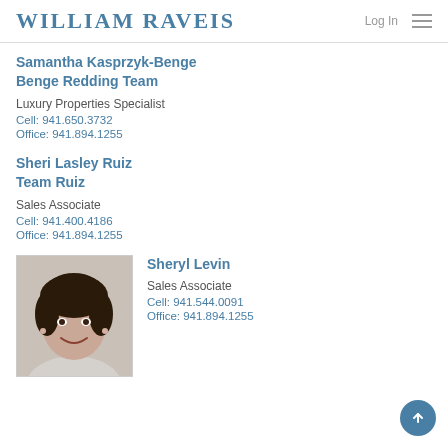WILLIAM RAVEIS | Log In
Samantha Kasprzyk-Benge
Benge Redding Team
Luxury Properties Specialist
Cell: 941.650.3732
Office: 941.894.1255
Sheri Lasley Ruiz
Team Ruiz
Sales Associate
Cell: 941.400.4186
Office: 941.894.1255
[Figure (photo): Headshot photo of Sheryl Levin, a woman with short dark hair, smiling]
Sheryl Levin
Sales Associate
Cell: 941.544.0091
Office: 941.894.1255